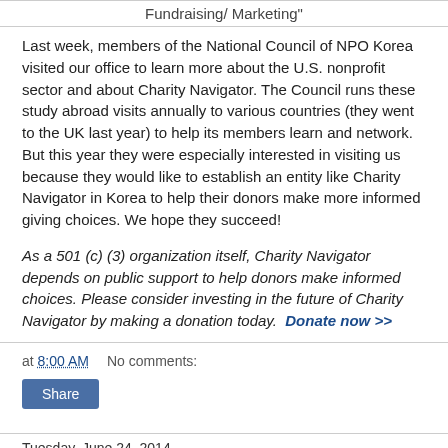Fundraising/ Marketing"
Last week, members of the National Council of NPO Korea visited our office to learn more about the U.S. nonprofit sector and about Charity Navigator. The Council runs these study abroad visits annually to various countries (they went to the UK last year) to help its members learn and network. But this year they were especially interested in visiting us because they would like to establish an entity like Charity Navigator in Korea to help their donors make more informed giving choices. We hope they succeed!
As a 501 (c) (3) organization itself, Charity Navigator depends on public support to help donors make informed choices. Please consider investing in the future of Charity Navigator by making a donation today.  Donate now >>
at 8:00 AM   No comments:
Share
Tuesday, June 24, 2014